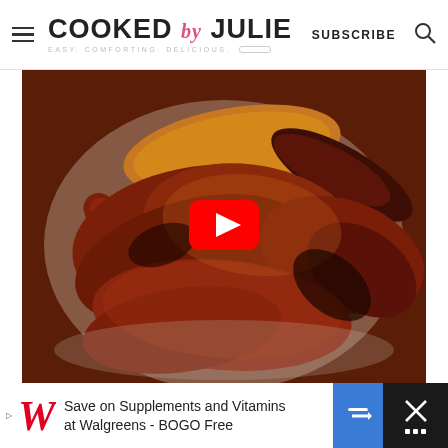COOKED by JULIE — EASY. COMFORTING. DELICIOUS. — SUBSCRIBE
[Figure (photo): Close-up photo of crispy baked or air-fried chicken wings piled on a white plate, dark charred coloring. YouTube play button overlay in the center.]
Save on Supplements and Vitamins at Walgreens - BOGO Free